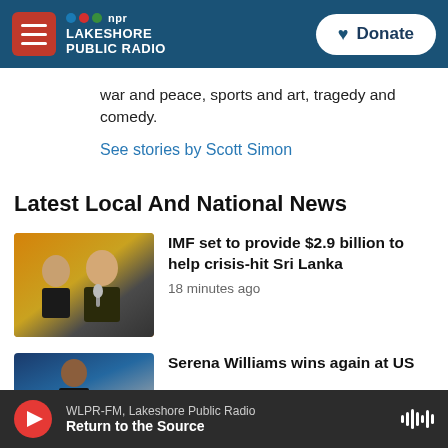NPR Lakeshore Public Radio | Donate
war and peace, sports and art, tragedy and comedy.
See stories by Scott Simon
Latest Local And National News
[Figure (photo): Two men in suits at a press conference, one speaking at microphone]
IMF set to provide $2.9 billion to help crisis-hit Sri Lanka
18 minutes ago
[Figure (photo): Serena Williams athlete photo]
Serena Williams wins again at US
WLPR-FM, Lakeshore Public Radio — Return to the Source